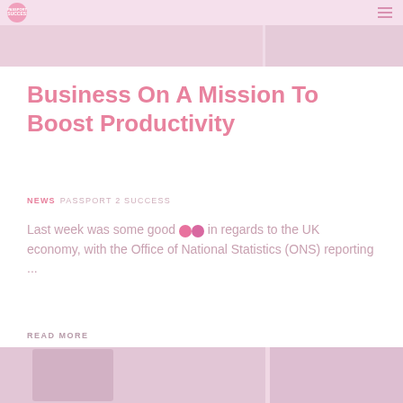Passport 2 Success
[Figure (photo): Website header banner with pink background, article photo thumbnails]
Business On A Mission To Boost Productivity
NEWS  PASSPORT 2 SUCCESS
Last week was some good news in regards to the UK economy, with the Office of National Statistics (ONS) reporting ...
READ MORE
[Figure (photo): Bottom article image strip showing pink-toned article thumbnail photos]